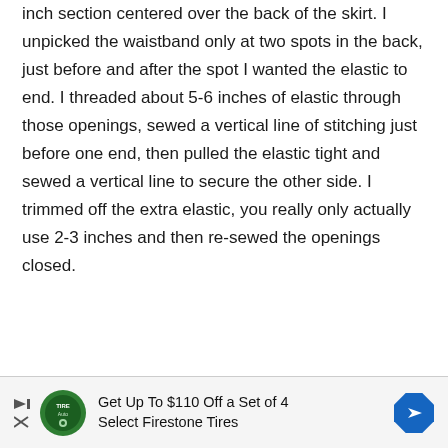inch section centered over the back of the skirt. I unpicked the waistband only at two spots in the back, just before and after the spot I wanted the elastic to end. I threaded about 5-6 inches of elastic through those openings, sewed a vertical line of stitching just before one end, then pulled the elastic tight and sewed a vertical line to secure the other side. I trimmed off the extra elastic, you really only actually use 2-3 inches and then re-sewed the openings closed.
[Figure (infographic): Advertisement banner: Get Up To $110 Off a Set of 4 Select Firestone Tires. Shows TireAuto logo, play/close controls, and a blue diamond direction arrow.]